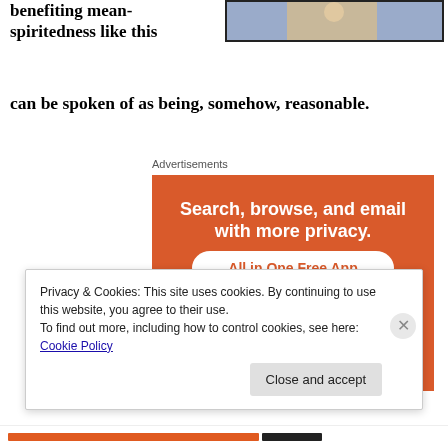benefiting mean-spiritedness like this
[Figure (photo): Photo/image partially visible at top right]
can be spoken of as being, somehow, reasonable.
Advertisements
[Figure (screenshot): DuckDuckGo advertisement: Search, browse, and email with more privacy. All in One Free App. Shows phone with DuckDuckGo logo.]
Privacy & Cookies: This site uses cookies. By continuing to use this website, you agree to their use.
To find out more, including how to control cookies, see here: Cookie Policy
Close and accept